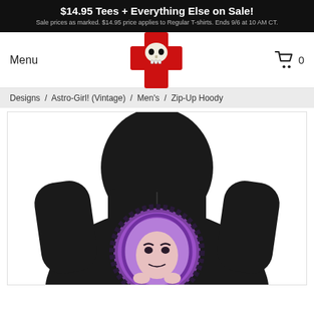$14.95 Tees + Everything Else on Sale! Sale prices as marked. $14.95 price applies to Regular T-shirts. Ends 9/6 at 10 AM CT.
Menu
[Figure (logo): Red cross with skull logo]
0
Designs / Astro-Girl! (Vintage) / Men's / Zip-Up Hoody
[Figure (photo): Black zip-up hoodie shown from the back, featuring a purple circular design with a female astronaut face in a space helmet surrounded by dark floral elements.]